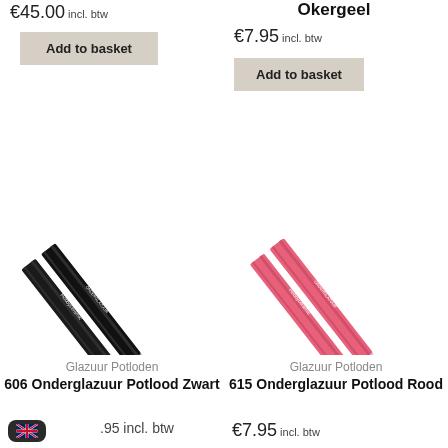€45.00 incl. btw
Add to basket
Okergeel
€7.95 incl. btw
Add to basket
[Figure (photo): Two black underglaze pencils (606 Onderglazuur Potlood Zwart) lying diagonally on a white background]
[Figure (photo): Two pink/red underglaze pencils (615 Onderglazuur Potlood Rood) lying diagonally on a white background]
Glazuur Potloden
606 Onderglazuur Potlood Zwart
Glazuur Potloden
615 Onderglazuur Potlood Rood
€7.95 incl. btw
€7.95 incl. btw